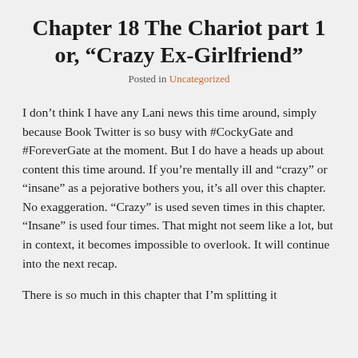Chapter 18 The Chariot part 1 or, “Crazy Ex-Girlfriend”
Posted in Uncategorized
I don’t think I have any Lani news this time around, simply because Book Twitter is so busy with #CockyGate and #ForeverGate at the moment. But I do have a heads up about content this time around. If you’re mentally ill and “crazy” or “insane” as a pejorative bothers you, it’s all over this chapter. No exaggeration. “Crazy” is used seven times in this chapter. “Insane” is used four times. That might not seem like a lot, but in context, it becomes impossible to overlook. It will continue into the next recap.
There is so much in this chapter that I’m splitting it